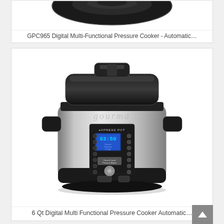[Figure (photo): Top portion of a digital multi-functional pressure cooker (black lid visible from above), partially cropped]
GPC965 Digital Multi-Functional Pressure Cooker - Automatic…
[Figure (photo): Gourmia Express Pot 6 Qt Digital Multi Functional Pressure Cooker with silver stainless steel body, black lid with handle, digital blue LCD display showing 03:50, and multiple function buttons on the front panel]
6 Qt Digital Multi Functional Pressure Cooker Automatic…